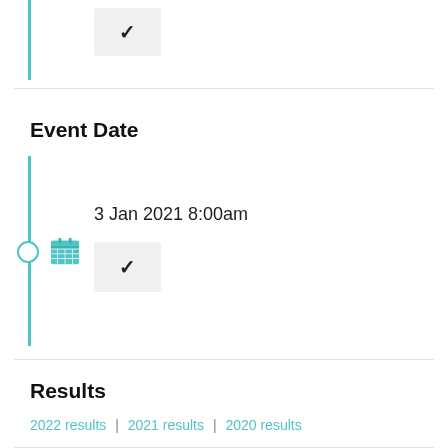[Figure (screenshot): Top partial section showing a teal vertical timeline bar and a grey checkmark box with a black checkmark]
Event Date
[Figure (infographic): Timeline with teal vertical bar, teal circle node, teal calendar icon, date text '3 Jan 2021 8:00am', and a grey box with a black checkmark]
3 Jan 2021 8:00am
Results
2022 results | 2021 results | 2020 results